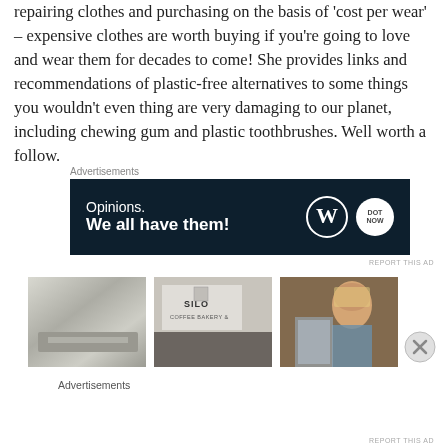repairing clothes and purchasing on the basis of 'cost per wear' – expensive clothes are worth buying if you're going to love and wear them for decades to come! She provides links and recommendations of plastic-free alternatives to some things you wouldn't even thing are very damaging to our planet, including chewing gum and plastic toothbrushes. Well worth a follow.
Advertisements
[Figure (other): Advertisement banner with dark navy background. Text reads 'Opinions. We all have them!' with WordPress logo and another circular logo on the right.]
REPORT THIS AD
[Figure (photo): Three social media thumbnail photos in a row: a metallic/foil close-up, a storefront with 'SILO' signage, and a blonde woman holding a book/magazine.]
Advertisements